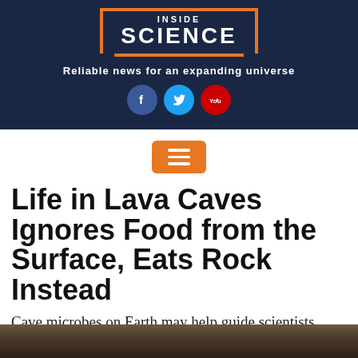[Figure (logo): Inside Science logo with orange border box on dark navy background, with social media icons (Facebook, Twitter, YouTube) and tagline]
Reliable news for an expanding universe
[Figure (other): Orange hamburger menu button with three white horizontal lines]
Life in Lava Caves Ignores Food from the Surface, Eats Rock Instead
Cave microbes on Earth may help guide scientists toward life on Mars.
[Figure (photo): Bottom cropped image showing rocky cave or lava tube texture]